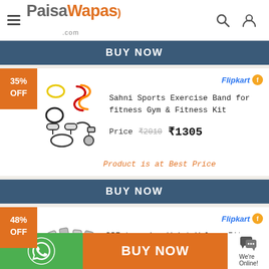PaisaWapas.com
BUY NOW
35% OFF
[Figure (photo): Sahni Sports Exercise Band set with resistance bands, handles and accessories]
Flipkart
Sahni Sports Exercise Band for fitness Gym & Fitness Kit
Price  ₹2010  ₹1305
Product is at Best Price
BUY NOW
48% OFF
Flipkart
DPEnterprise Wrist Velcro Fitness Band
BUY NOW
We're Online!